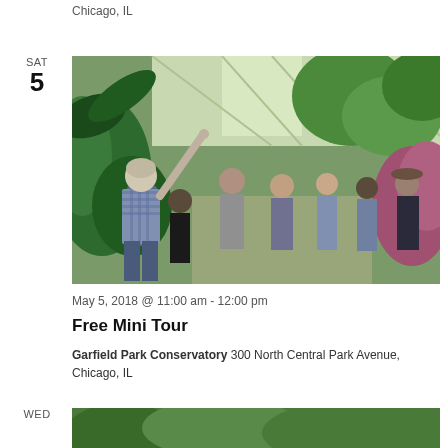Chicago, IL
SAT
5
[Figure (photo): A tour guide pointing upward while a group of visitors watch inside a greenhouse or conservatory surrounded by tropical plants.]
May 5, 2018 @ 11:00 am - 12:00 pm
Free Mini Tour
Garfield Park Conservatory 300 North Central Park Avenue, Chicago, IL
WED
[Figure (photo): Partial view of green plants, bottom of page.]